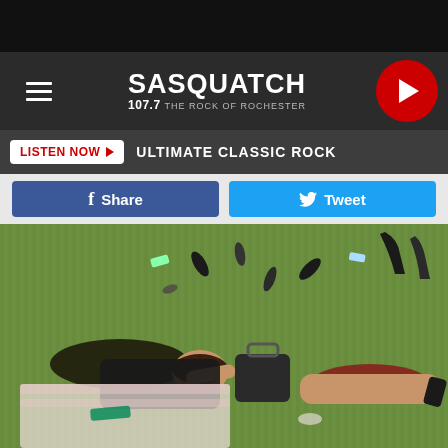[Figure (screenshot): Sasquatch 107.7 The Rock of Rochester radio station website header with hamburger menu, logo, and red circular play button]
LISTEN NOW ▶   ULTIMATE CLASSIC ROCK
f Share    Tweet
[Figure (photo): Two women lying on the grass at what appears to be an outdoor event, surrounded by litter including bottles and shoes. One woman wears a black dress, the other wears a red skirt. A third person stands in heels in the background.]